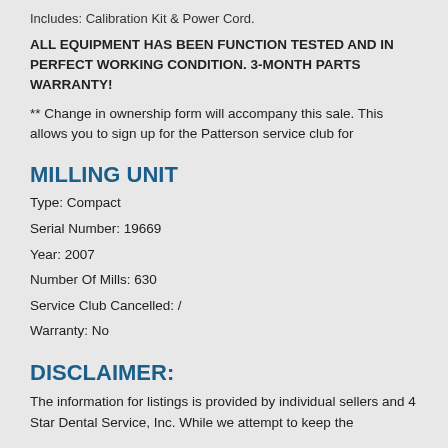Includes: Calibration Kit & Power Cord.
ALL EQUIPMENT HAS BEEN FUNCTION TESTED AND IN PERFECT WORKING CONDITION. 3-MONTH PARTS WARRANTY!
** Change in ownership form will accompany this sale. This allows you to sign up for the Patterson service club for
MILLING UNIT
Type: Compact
Serial Number: 19669
Year: 2007
Number Of Mills: 630
Service Club Cancelled: /
Warranty: No
DISCLAIMER:
The information for listings is provided by individual sellers and 4 Star Dental Service, Inc. While we attempt to keep the